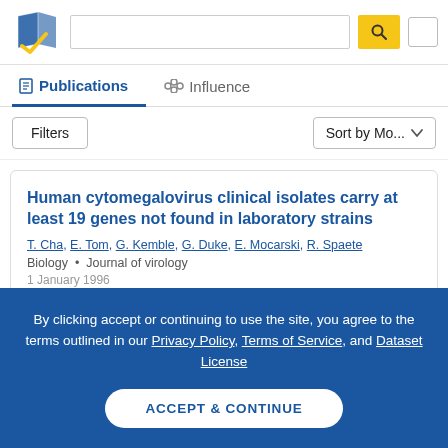[Figure (screenshot): Semantic Scholar logo — stylized book pages in blue and yellow checkmark]
Publications   Influence
Filters   Sort by Mo...
Human cytomegalovirus clinical isolates carry at least 19 genes not found in laboratory strains
T. Cha, E. Tom, G. Kemble, G. Duke, E. Mocarski, R. Spaete
Biology • Journal of virology
1 January 1996
By clicking accept or continuing to use the site, you agree to the terms outlined in our Privacy Policy, Terms of Service, and Dataset License
ACCEPT & CONTINUE